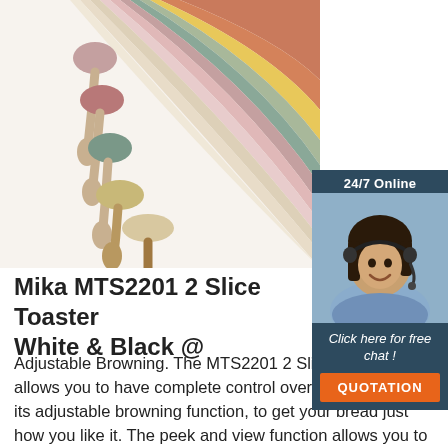[Figure (photo): Product photo showing colorful silicone-tipped spoons/spatulas fanned out in pastel colors (pink, sage green, taupe, cream, yellow, terracotta) with wooden handles on a white background]
[Figure (infographic): 24/7 Online chat widget with a woman wearing a headset, 'Click here for free chat!' text, and an orange QUOTATION button]
Mika MTS2201 2 Slice Toaster White & Black @
Adjustable Browning. The MTS2201 2 Slice Toaster allows you to have complete control over your toast with its adjustable browning function, to get your bread just how you like it. The peek and view function allows you to easily check on